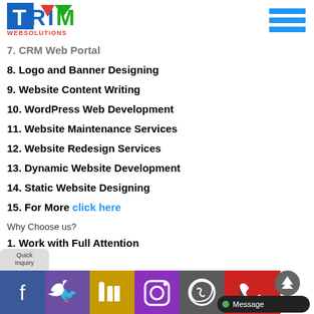[Figure (logo): TRIM WEBSOLUTIONS logo with colorful letters T, R, I, M and red/green/blue colors, with 'WEBSOLUTIONS' text below in red]
7. CRM Web Portal (partially visible at top)
8. Logo and Banner Designing
9. Website Content Writing
10. WordPress Web Development
11. Website Maintenance Services
12. Website Redesign Services
13. Dynamic Website Development
14. Static Website Designing
15. For More click here
Why Choose us?
1. Work with Full Attention
2. (partially visible)
Quick Inquiry
[Figure (infographic): Social media bar with Facebook, Twitter, LinkedIn, Instagram, WhatsApp, and phone icons, plus Message button and scroll-up arrow]